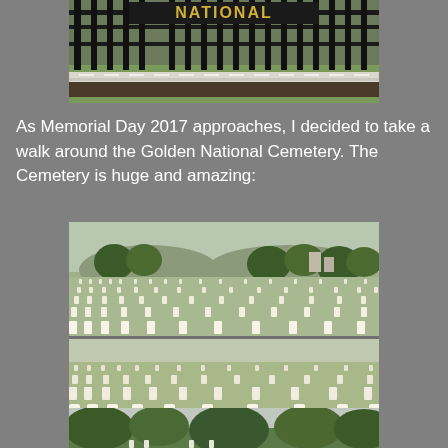[Figure (photo): Top portion of a photo showing an iron fence gate with the word NATIONAL visible in gold letters, at Golden Gate National Cemetery. Green grass and white curbing visible below the fence.]
As Memorial Day 2017 approaches, I decided to take a walk around the Golden National Cemetery. The Cemetery is huge and amazing:
[Figure (photo): Two combined photos showing rows upon rows of white military grave markers at Golden Gate National Cemetery, with trees in the background (upper photo) and a closer ground-level view of the graves (lower photo).]
[Figure (photo): Partial photo at bottom of page showing trees at Golden Gate National Cemetery.]